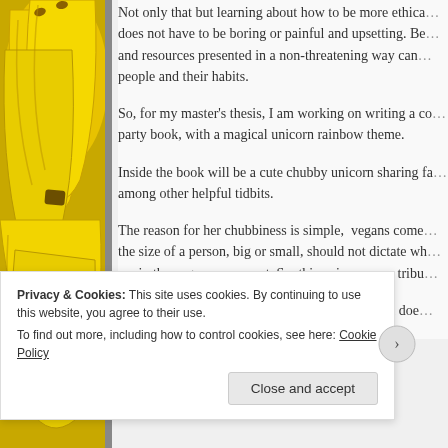[Figure (photo): Close-up photo of yellow bananas on the left side of the page]
Not only that but learning about how to be more ethica... does not have to be boring or painful and upsetting. Be... and resources presented in a non-threatening way can... people and their habits.
So, for my master’s thesis, I am working on writing a co... party book, with a magical unicorn rainbow theme.
Inside the book will be a cute chubby unicorn sharing fa... among other helpful tidbits.
The reason for her chubbiness is simple, vegans come... the size of a person, big or small, should not dictate wh... are in the vegan movement. So, this unicorn pays tribu...
Likewise, what people choose to eat, so long as it doe...
Privacy & Cookies: This site uses cookies. By continuing to use this website, you agree to their use.
To find out more, including how to control cookies, see here: Cookie Policy
Close and accept